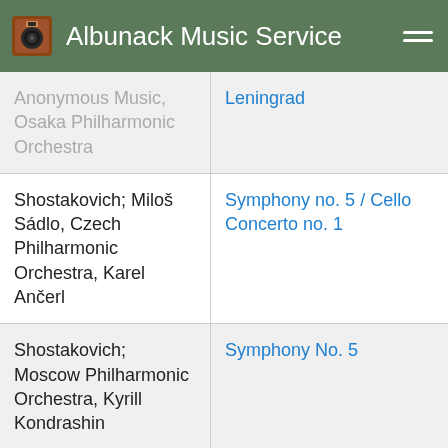Albunack Music Service
| Artist | Album |
| --- | --- |
| Anonymous Music, Osaka Philharmonic Orchestra | Leningrad |
| Shostakovich; Miloš Sádlo, Czech Philharmonic Orchestra, Karel Ančerl | Symphony no. 5 / Cello Concerto no. 1 |
| Shostakovich; Moscow Philharmonic Orchestra, Kyrill Kondrashin | Symphony No. 5 |
| Shostakovich; Moscow Radio Symphony Orchestra, Vladimir | Symphony no. 9 / Symphonic Suite "Katerina Izmailova" |